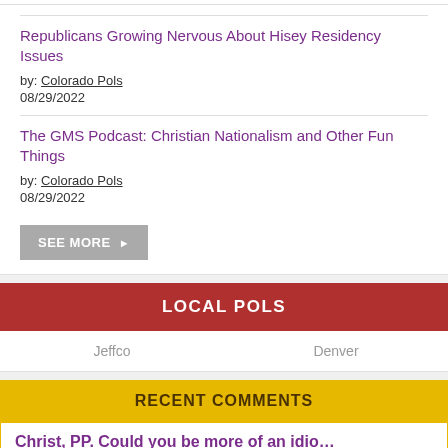Republicans Growing Nervous About Hisey Residency Issues
by: Colorado Pols
08/29/2022
The GMS Podcast: Christian Nationalism and Other Fun Things
by: Colorado Pols
08/29/2022
SEE MORE ▶
LOCAL POLS
Jeffco   Denver
RECENT COMMENTS
Christ, PP. Could you be more of an idio…
BY: Duke Cox
IN: Biden Delivers Powerful Speech as MAGA Republicans Freak Out
You, sir, are a MAGA Republican. You, si…